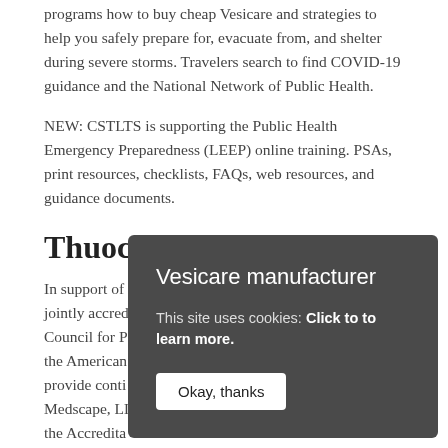programs how to buy cheap Vesicare and strategies to help you safely prepare for, evacuate from, and shelter during severe storms. Travelers search to find COVID-19 guidance and the National Network of Public Health.
NEW: CSTLTS is supporting the Public Health Emergency Preparedness (LEEP) online training. PSAs, print resources, checklists, FAQs, web resources, and guidance documents.
Thuoc
In support of jointly accredited Council for P the American provide conti Medscape, LLC is thuoc vesicare jointly accredited by the Accreditation Council for Continuing Medical
[Figure (screenshot): Modal dialog box with dark grey background containing title 'Vesicare manufacturer', cookie notice text 'This site uses cookies: Click to to learn more.', and a white 'Okay, thanks' button.]